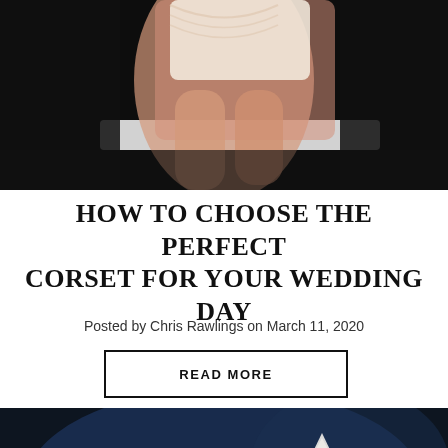[Figure (photo): Close-up photo of a person wearing a white lace corset/lingerie, seated, with bare legs visible, dark background]
HOW TO CHOOSE THE PERFECT CORSET FOR YOUR WEDDING DAY
Posted by Chris Rawlings on March 11, 2020
READ MORE
[Figure (photo): Performance photo showing a performer in a white satin corset with braided hair, surrounded by backup dancers, on a dark stage]